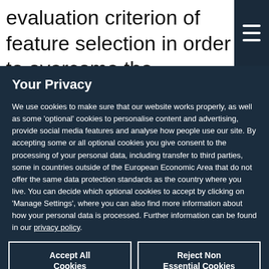evaluation criterion of feature selection in order to overcome the deficiency of feature
Your Privacy
We use cookies to make sure that our website works properly, as well as some 'optional' cookies to personalise content and advertising, provide social media features and analyse how people use our site. By accepting some or all optional cookies you give consent to the processing of your personal data, including transfer to third parties, some in countries outside of the European Economic Area that do not offer the same data protection standards as the country where you live. You can decide which optional cookies to accept by clicking on 'Manage Settings', where you can also find more information about how your personal data is processed. Further information can be found in our privacy policy.
Accept All Cookies
Reject Non Essential Cookies
Manage Preferences